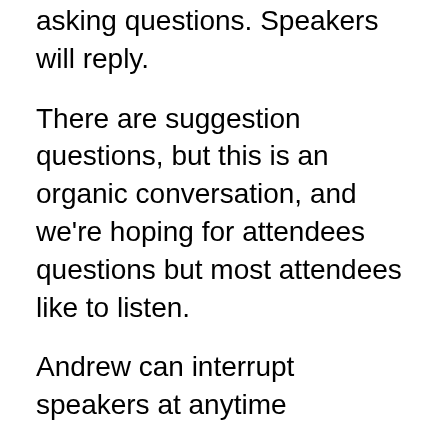Andrew the host will drive the conversation by asking questions. Speakers will reply.
There are suggestion questions, but this is an organic conversation, and we're hoping for attendees questions but most attendees like to listen.
Andrew can interrupt speakers at anytime
Its encouraged for guest speakers to raise their hand to queue for reply
For guest speakers watch for raised hands or allow for artificial pauses to allow another guest speaker to get a turn.